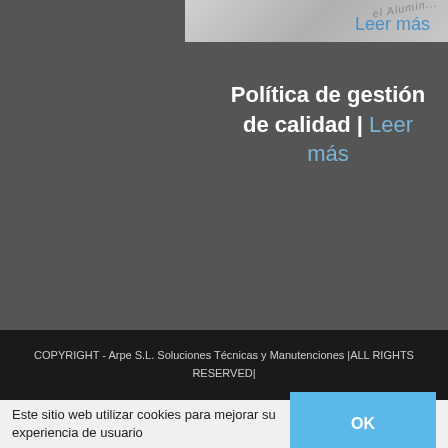[Figure (screenshot): Partial image strip showing aluminum-related graphic with diagonal watermark text 'el Alumin...' on grey background]
Leer más
Política de gestión de calidad | Leer más
COPYRIGHT - Arpe S.L. Soluciones Técnicas y Manutenciones |ALL RIGHTS RESERVED|
Este sitio web utilizar cookies para mejorar su experiencia de usuario
OK